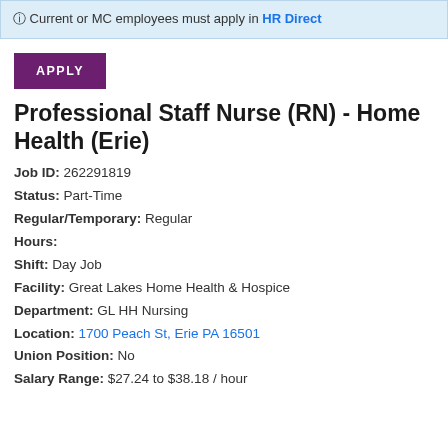Current or MC employees must apply in HR Direct
APPLY
Professional Staff Nurse (RN) - Home Health (Erie)
Job ID: 262291819
Status: Part-Time
Regular/Temporary: Regular
Hours:
Shift: Day Job
Facility: Great Lakes Home Health & Hospice
Department: GL HH Nursing
Location: 1700 Peach St, Erie PA 16501
Union Position: No
Salary Range: $27.24 to $38.18 / hour